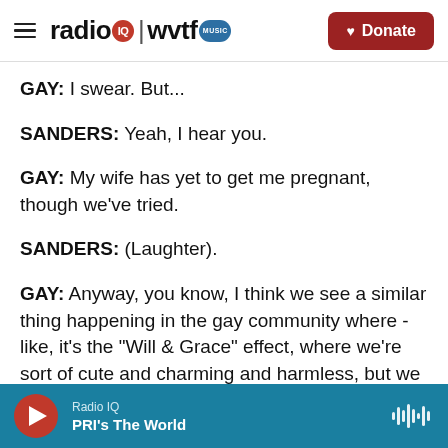radio IQ | wvtf MUSIC — Donate
GAY: I swear. But...
SANDERS: Yeah, I hear you.
GAY: My wife has yet to get me pregnant, though we've tried.
SANDERS: (Laughter).
GAY: Anyway, you know, I think we see a similar thing happening in the gay community where - like, it's the "Will & Grace" effect, where we're sort of cute and charming and harmless, but we don't
Radio IQ — PRI's The World